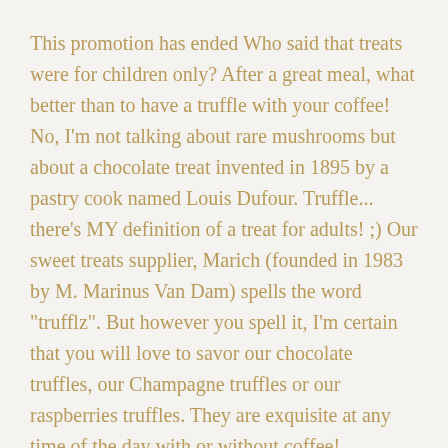This promotion has ended Who said that treats were for children only? After a great meal, what better than to have a truffle with your coffee! No, I'm not talking about rare mushrooms but about a chocolate treat invented in 1895 by a pastry cook named Louis Dufour. Truffle... there's MY definition of a treat for adults! ;) Our sweet treats supplier, Marich (founded in 1983 by M. Marinus Van Dam) spells the word "trufflz". But however you spell it, I'm certain that you will love to savor our chocolate truffles, our Champagne truffles or our raspberries truffles. They are exquisite at any time of the day with or without coffee! ...
READ MORE